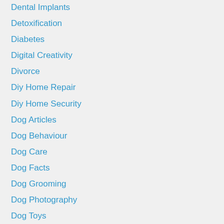Dental Implants
Detoxification
Diabetes
Digital Creativity
Divorce
Diy Home Repair
Diy Home Security
Dog Articles
Dog Behaviour
Dog Care
Dog Facts
Dog Grooming
Dog Photography
Dog Toys
Dog Training